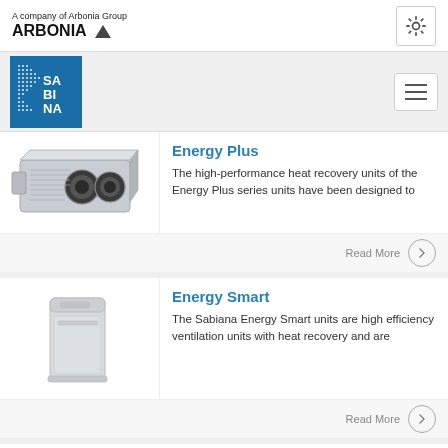A company of Arbonia Group
ARBONIA
[Figure (logo): Sabiana logo - blue square with white dot-grid pattern and SA BI NA text]
[Figure (photo): Energy Plus heat recovery ventilation unit - rectangular silver/grey box with two circular ports]
Energy Plus
The high-performance heat recovery units of the Energy Plus series units have been designed to
Read More
[Figure (photo): Energy Smart ventilation unit - tall upright white/light grey box shaped unit]
Energy Smart
The Sabiana Energy Smart units are high efficiency ventilation units with heat recovery and are
Read More